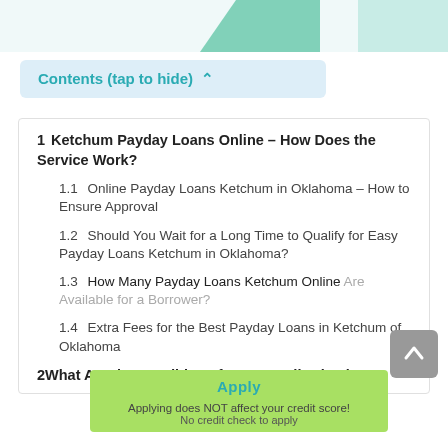Contents (tap to hide) ^
1  Ketchum Payday Loans Online – How Does the Service Work?
1.1  Online Payday Loans Ketchum in Oklahoma – How to Ensure Approval
1.2  Should You Wait for a Long Time to Qualify for Easy Payday Loans Ketchum in Oklahoma?
1.3  How Many Payday Loans Ketchum Online Are Available for a Borrower?
1.4  Extra Fees for the Best Payday Loans in Ketchum of Oklahoma
2  What Are the Conditions for No Credit Check
Applying does NOT affect your credit score!
No credit check to apply